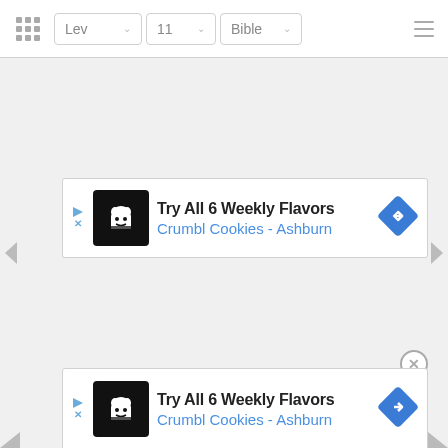Lev  11  Bible
[Figure (screenshot): Advertisement banner: Crumbl Cookies - Ashburn - Try All 6 Weekly Flavors]
[Figure (screenshot): Second advertisement banner: Crumbl Cookies - Ashburn - Try All 6 Weekly Flavors (partially visible)]